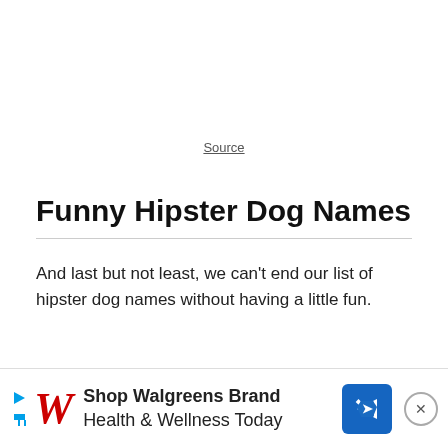Source
Funny Hipster Dog Names
And last but not least, we can't end our list of hipster dog names without having a little fun.
[Figure (other): Advertisement banner for Walgreens Brand Health & Wellness Today with Walgreens logo, play button, directional sign icon, and close button.]